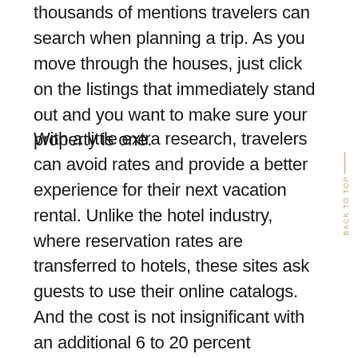thousands of mentions travelers can search when planning a trip. As you move through the houses, just click on the listings that immediately stand out and you want to make sure your property is one.
With a little extra research, travelers can avoid rates and provide a better experience for their next vacation rental. Unlike the hotel industry, where reservation rates are transferred to hotels, these sites ask guests to use their online catalogs. And the cost is not insignificant with an additional 6 to 20 percent surcharge on top of the rental rate, which translates to consumers who pay hundreds more dollars to use these great websites. Guests who choose holiday rental are looking for a unique home with a real person behind. Writing a note to